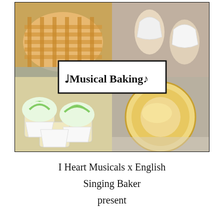[Figure (photo): A 2x2 collage of baking photos: top-left shows a lattice-top pie, top-right shows wedding dress shaped iced cookies, bottom-left shows cupcakes with green and white swirl frosting, bottom-right shows a round golden pastry/tart on a white plate. A white title box overlays the center with text 'Musical Baking' with musical note decorations.]
I Heart Musicals x English Singing Baker present